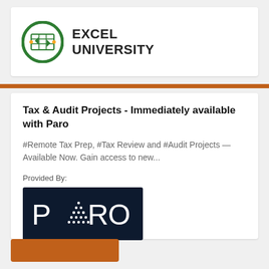[Figure (logo): Excel University logo with circular green/gold icon and bold text EXCEL UNIVERSITY]
Tax & Audit Projects - Immediately available with Paro
#Remote Tax Prep, #Tax Review and #Audit Projects — Available Now. Gain access to new...
Provided By:
[Figure (logo): Paro logo — white text PARO with dot-matrix A design on dark navy background]